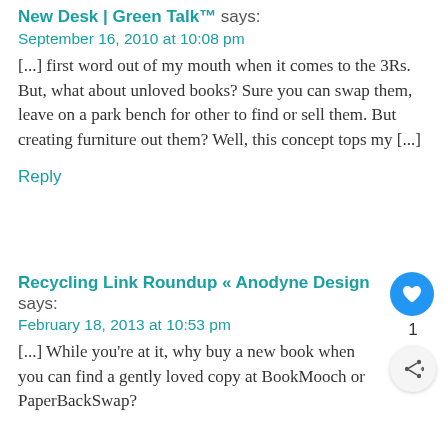New Desk | Green Talk™ says:
September 16, 2010 at 10:08 pm
[...] first word out of my mouth when it comes to the 3Rs.  But,  what about unloved books?  Sure you can swap them, leave on a park bench for other to find or sell them.   But creating furniture out them?  Well, this concept tops my [...]
Reply
Recycling Link Roundup « Anodyne Design says:
February 18, 2013 at 10:53 pm
[...] While you're at it, why buy a new book when you can find a gently loved copy at BookMooch or PaperBackSwap?